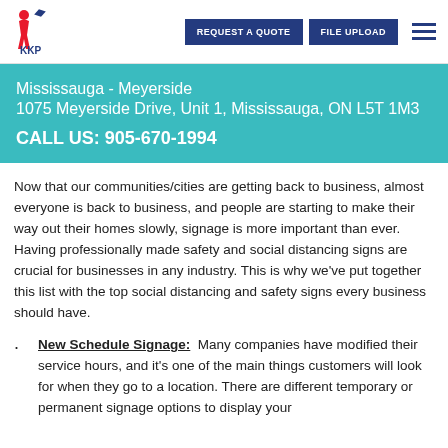KKP | REQUEST A QUOTE | FILE UPLOAD
Mississauga - Meyerside
1075 Meyerside Drive, Unit 1, Mississauga, ON L5T 1M3
CALL US: 905-670-1994
Now that our communities/cities are getting back to business, almost everyone is back to business, and people are starting to make their way out their homes slowly, signage is more important than ever. Having professionally made safety and social distancing signs are crucial for businesses in any industry. This is why we've put together this list with the top social distancing and safety signs every business should have.
New Schedule Signage: Many companies have modified their service hours, and it's one of the main things customers will look for when they go to a location. There are different temporary or permanent signage options to display your